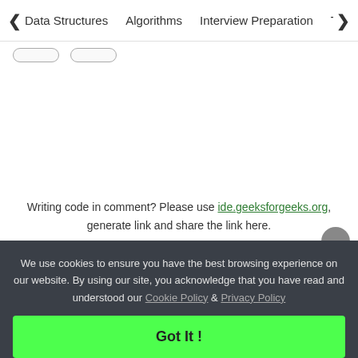< Data Structures   Algorithms   Interview Preparation   To>
Writing code in comment? Please use ide.geeksforgeeks.org, generate link and share the link here.
Load Comments
We use cookies to ensure you have the best browsing experience on our website. By using our site, you acknowledge that you have read and understood our Cookie Policy & Privacy Policy
Got It !